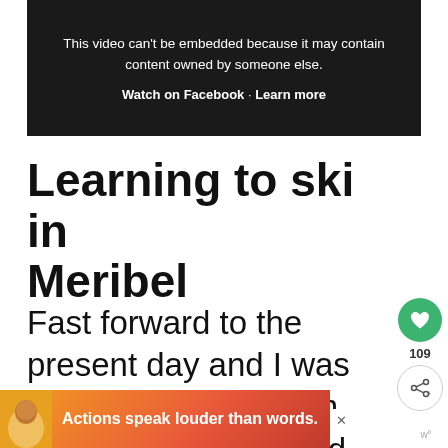[Figure (screenshot): Dark video embed placeholder with text: 'This video can't be embedded because it may contain content owned by someone else.' with links 'Watch on Facebook' and 'Learn more']
Learning to ski in Meribel
Fast forward to the present day and I was flying off to Meribel in France for my second ski holiday.
[Figure (infographic): Advertisement banner: 'Actions speak louder than words.' with person avatar on coral/orange gradient background, close button, and w logo]
[Figure (infographic): Sidebar with green heart/like button showing count 109, and a share button]